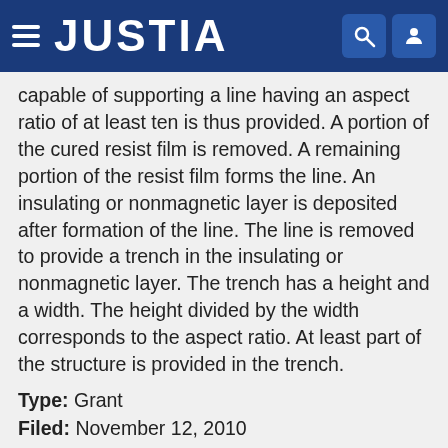JUSTIA
capable of supporting a line having an aspect ratio of at least ten is thus provided. A portion of the cured resist film is removed. A remaining portion of the resist film forms the line. An insulating or nonmagnetic layer is deposited after formation of the line. The line is removed to provide a trench in the insulating or nonmagnetic layer. The trench has a height and a width. The height divided by the width corresponds to the aspect ratio. At least part of the structure is provided in the trench.
Type: Grant
Filed: November 12, 2010
Date of Patent: April 9, 2013
Assignee: Western Digital (Fremont), LLC
Inventors: Dujiang Wan, Hai Sun, Ge Yi, Wei Gao, Hong Zhang, Guanghong Luo, Yunjun Tang, Tiffany Yun Wen Jiang, Zhigang Zhou, Wencheng Su